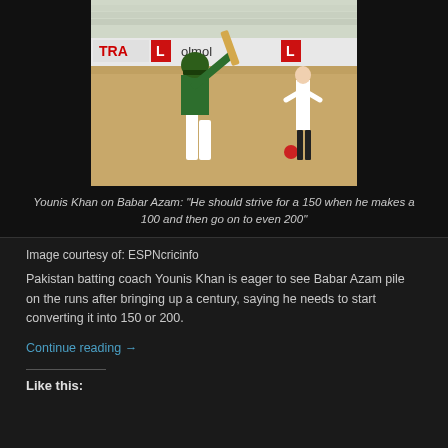[Figure (photo): Pakistan cricket batsman Babar Azam playing a shot in a Test match, wearing green Pakistan kit and batting helmet, with a fielder in the background on a cricket field with stadium advertisements visible including 'TRA', 'L', and 'olmol' boards.]
Younis Khan on Babar Azam: “He should strive for a 150 when he makes a 100 and then go on to even 200”
Image courtesy of: ESPNcricinfo
Pakistan batting coach Younis Khan is eager to see Babar Azam pile on the runs after bringing up a century, saying he needs to start converting it into 150 or 200.
Continue reading →
Like this: